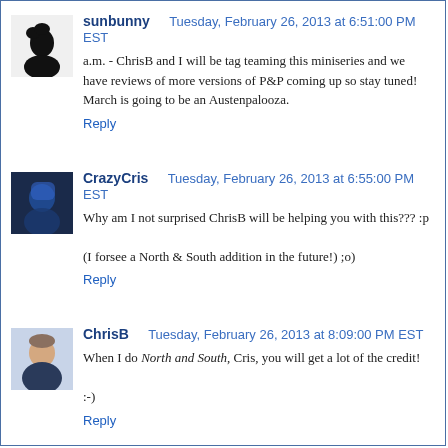sunbunny — Tuesday, February 26, 2013 at 6:51:00 PM EST
a.m. - ChrisB and I will be tag teaming this miniseries and we have reviews of more versions of P&P coming up so stay tuned! March is going to be an Austenpalooza.
Reply
CrazyCris — Tuesday, February 26, 2013 at 6:55:00 PM EST
Why am I not surprised ChrisB will be helping you with this??? :p
(I forsee a North & South addition in the future!) ;o)
Reply
ChrisB — Tuesday, February 26, 2013 at 8:09:00 PM EST
When I do North and South, Cris, you will get a lot of the credit!
:-)
Reply